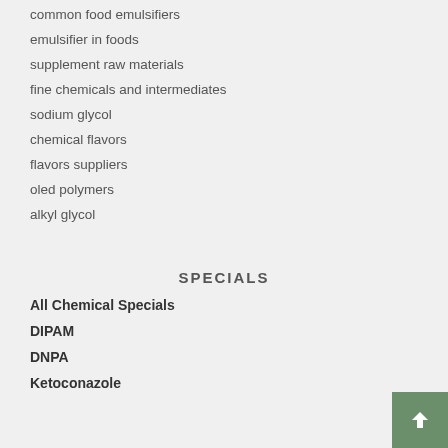common food emulsifiers
emulsifier in foods
supplement raw materials
fine chemicals and intermediates
sodium glycol
chemical flavors
flavors suppliers
oled polymers
alkyl glycol
SPECIALS
All Chemical Specials
DIPAM
DNPA
Ketoconazole